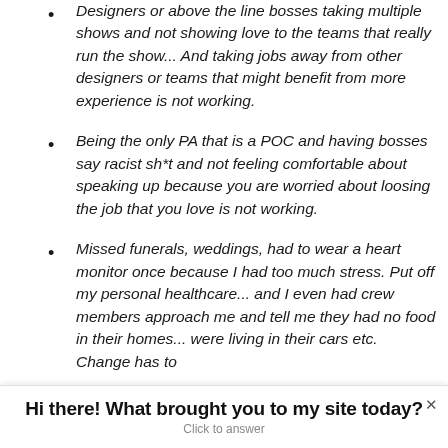Designers or above the line bosses taking multiple shows and not showing love to the teams that really run the show... And taking jobs away from other designers or teams that might benefit from more experience is not working.
Being the only PA that is a POC and having bosses say racist sh*t and not feeling comfortable about speaking up because you are worried about loosing the job that you love is not working.
Missed funerals, weddings, had to wear a heart monitor once because I had too much stress. Put off my personal healthcare... and I even had crew members approach me and tell me they had no food in their homes... were living in their cars etc. Change has to
Hi there! What brought you to my site today?
Click to answer